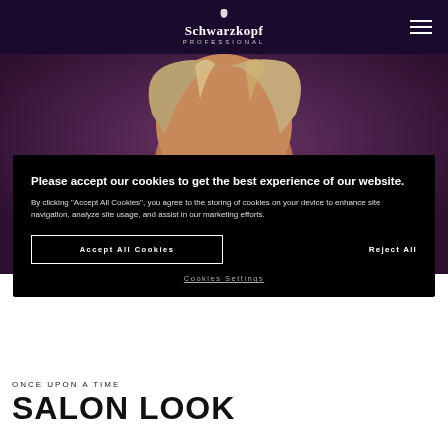Schwarzkopf Professional
[Figure (photo): Hero image of a blonde woman with her eyes partially visible, peering over a dark background with purple/mauve tones]
Please accept our cookies to get the best experience of our website.
By clicking "Accept All Cookies", you agree to the storing of cookies on your device to enhance site navigation, analyze site usage, and assist in our marketing efforts.
Accept All Cookies
Reject All
Cookies Settings
ONCE UPON A TIME
SALON LOOK